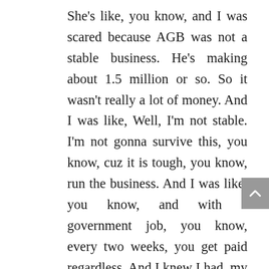She's like, you know, and I was scared because AGB was not a stable business. He's making about 1.5 million or so. So it wasn't really a lot of money. And I was like, Well, I'm not stable. I'm not gonna survive this, you know, cuz it is tough, you know, run the business. And I was like, you know, and with a government job, you know, every two weeks, you get paid regardless. And I knew I had, my son was in high school is a Catholic High School De La Salle. I had a mortgage. I had children, and people depend on your dad, you know, that his dad has security facilities. So, um, I talked to my attorney, and we wrote a resignation. And I resigned. I was resigning, and in good standing, and got my